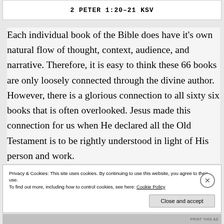2 PETER 1:20–21 KSV
Each individual book of the Bible does have it's own natural flow of thought, context, audience, and narrative. Therefore, it is easy to think these 66 books are only loosely connected through the divine author. However, there is a glorious connection to all sixty six books that is often overlooked. Jesus made this connection for us when He declared all the Old Testament is to be rightly understood in light of His person and work.
Privacy & Cookies: This site uses cookies. By continuing to use this website, you agree to their use.
To find out more, including how to control cookies, see here: Cookie Policy
Close and accept